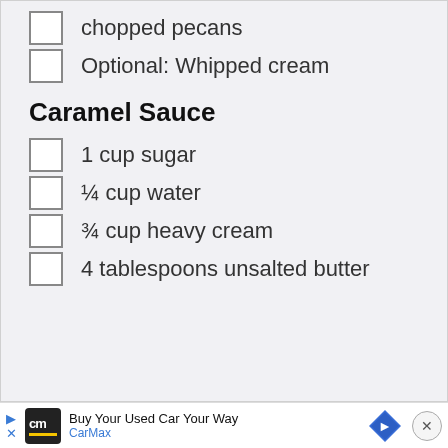chopped pecans
Optional: Whipped cream
Caramel Sauce
1 cup sugar
¼ cup water
¾ cup heavy cream
4 tablespoons unsalted butter
Buy Your Used Car Your Way — CarMax